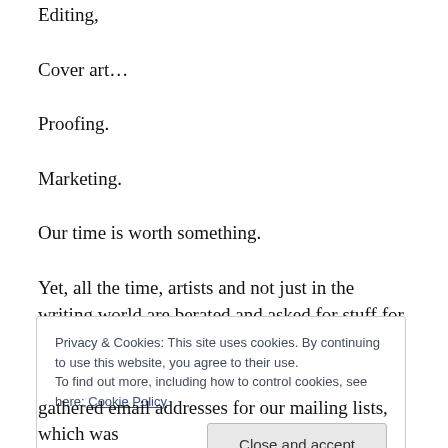Editing,
Cover art…
Proofing.
Marketing.
Our time is worth something.
Yet, all the time, artists and not just in the writing world are berated and asked for stuff for free.
Privacy & Cookies: This site uses cookies. By continuing to use this website, you agree to their use.
To find out more, including how to control cookies, see here: Cookie Policy

Close and accept
gathered email addresses for our mailing lists, which was